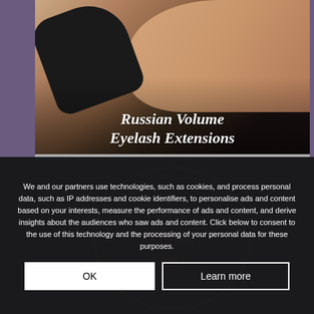[Figure (photo): Close-up photo of a person receiving eyelash extension treatment. A gloved hand (black latex glove) is applying or working near the closed eye of a person with bushy eyebrows. The photo has a dark tonal quality with skin tones visible. Overlaid on the photo in large white bold italic serif font is the text 'Russian Volume Eyelash Extensions'.]
We and our partners use technologies, such as cookies, and process personal data, such as IP addresses and cookie identifiers, to personalise ads and content based on your interests, measure the performance of ads and content, and derive insights about the audiences who saw ads and content. Click below to consent to the use of this technology and the processing of your personal data for these purposes.
OK
Learn more